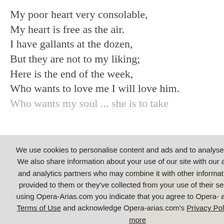My poor heart very consolable,
My heart is free as the air.
I have gallants at the dozen,
But they are not to my liking;
Here is the end of the week,
Who wants to love me I will love him.
Who wants my soul ... she is to take
We use cookies to personalise content and ads and to analyse our traffic. We also share information about your use of our site with our advertising and analytics partners who may combine it with other information you've provided to them or they've collected from your use of their services. By using Opera-Arias.com you indicate that you agree to Opera-arias.com's Terms of Use and acknowledge Opera-arias.com's Privacy Policy. Learn more
Got it!
New: Save your favorite arias videos and singers!
Tell me more – Check it later –
Not interested